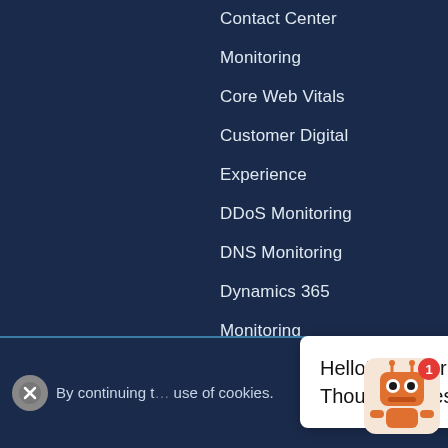Contact Center
Monitoring
Core Web Vitals
Customer Digital
Experience
DDoS Monitoring
DNS Monitoring
Dynamics 365
Monitoring
Enterprise Digital
Experience
Google Cloud
Monitoring
Hybrid WAN Monitoring
IaaS Monitoring
ISP Monitoring
By continuing t... use of cookies.
Hello! What brings you to ThousandEyes?